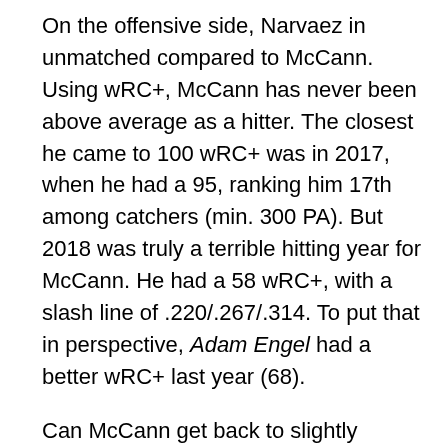On the offensive side, Narvaez in unmatched compared to McCann. Using wRC+, McCann has never been above average as a hitter. The closest he came to 100 wRC+ was in 2017, when he had a 95, ranking him 17th among catchers (min. 300 PA). But 2018 was truly a terrible hitting year for McCann. He had a 58 wRC+, with a slash line of .220/.267/.314. To put that in perspective, Adam Engel had a better wRC+ last year (68).
Can McCann get back to slightly below-average hitting? It is possible. McCann had a career-low HR/FB rate in 2018 that fell 8% from 2017, and that should correct itself, especially now that he's left Comerica Park in Detroit. McCann also swung 3% less compared to 2017, but his BB% still fell. Whether or not that was a new approach the Tigers wanted to try out, it did not